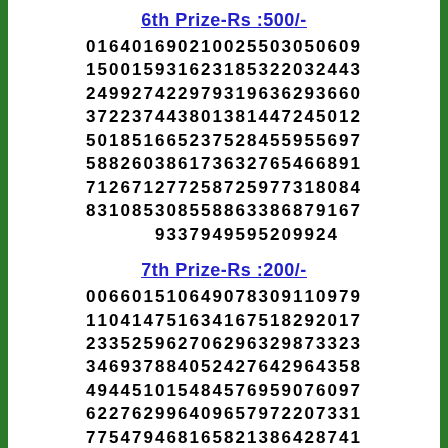6th Prize-Rs :500/-
0164 0169 0210 0255 0305 0609
1500 1593 1623 1853 2203 2443
2499 2742 2979 3196 3629 3660
3722 3744 3801 3814 4724 5012
5018 5166 5237 5284 5595 5697
5882 6038 6173 6327 6546 6891
7126 7127 7258 7259 7731 8084
8310 8530 8558 8633 8687 9167
9337 9495 9520 9924
7th Prize-Rs :200/-
0066 0151 0649 0783 0911 0979
1104 1475 1634 1675 1829 2017
2335 2596 2706 2963 2987 3323
3469 3788 4052 4276 4296 4358
4944 5101 5484 5769 5907 6097
6227 6299 6409 6579 7220 7331
7754 7946 8165 8213 8642 8741
8913 9224 9356